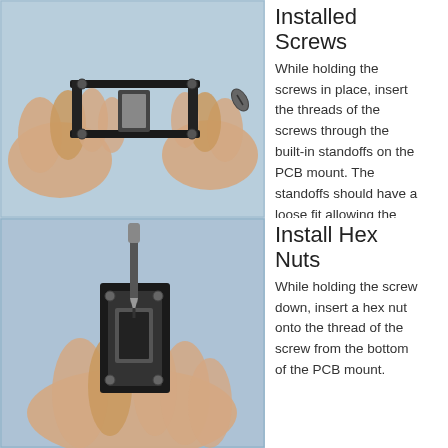[Figure (photo): Hands holding a small PCB mount frame with screws installed, viewed from above on a light blue background. A single screw is visible separately to the right.]
Installed Screws
While holding the screws in place, insert the threads of the screws through the built-in standoffs on the PCB mount. The standoffs should have a loose fit allowing the screws to pass all the way through.
[Figure (photo): Hands holding a small black PCB mount frame vertically while a screwdriver is being used to insert a screw, on a light blue background.]
Install Hex Nuts
While holding the screw down, insert a hex nut onto the thread of the screw from the bottom of the PCB mount.